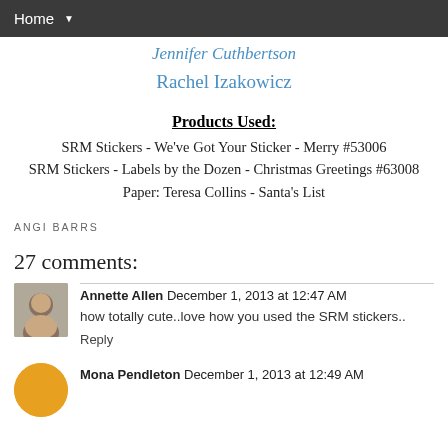Home ▼
Jennifer Cuthbertson
Rachel Izakowicz
Products Used:
SRM Stickers - We've Got Your Sticker - Merry #53006
SRM Stickers - Labels by the Dozen - Christmas Greetings #63008
Paper: Teresa Collins - Santa's List
ANGI BARRS
27 comments:
Annette Allen  December 1, 2013 at 12:47 AM
how totally cute..love how you used the SRM stickers..
Reply
Mona Pendleton  December 1, 2013 at 12:49 AM